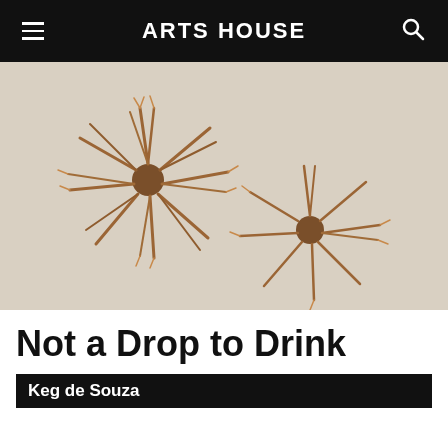ARTS HOUSE
[Figure (photo): Two brown spiky dried plant or organic star-shaped forms against a light grey/cream background, resembling sea urchins or dried flowers with radiating fibrous tendrils.]
Not a Drop to Drink
Keg de Souza